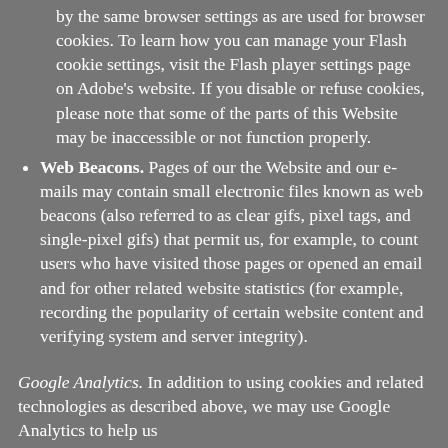by the same browser settings as are used for browser cookies. To learn how you can manage your Flash cookie settings, visit the Flash player settings page on Adobe's website. If you disable or refuse cookies, please note that some of the parts of this Website may be inaccessible or not function properly.
Web Beacons. Pages of our the Website and our e-mails may contain small electronic files known as web beacons (also referred to as clear gifs, pixel tags, and single-pixel gifs) that permit us, for example, to count users who have visited those pages or opened an email and for other related website statistics (for example, recording the popularity of certain website content and verifying system and server integrity).
Google Analytics. In addition to using cookies and related technologies as described above, we may use Google Analytics to help us